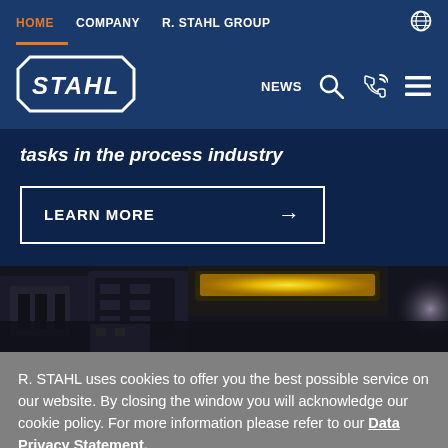HOME   COMPANY   R. STAHL GROUP
[Figure (logo): R. STAHL octagon logo in white on dark blue background]
tasks in the process industry
LEARN MORE →
[Figure (photo): Close-up photo of industrial electrical equipment with yellow indicator lights, dark background]
R. STAHL uses cookies to offer you the best possible service on our website. By closing the window you will acknowledge our cookie policy. For more information please refer to our Data Privacy Statement.